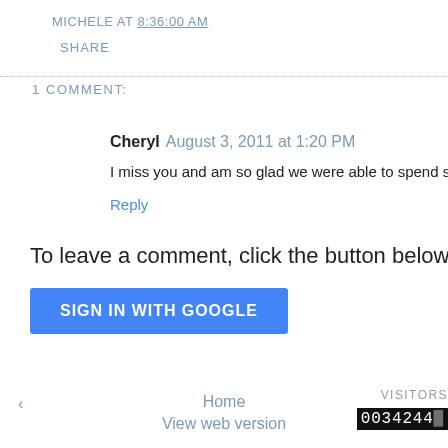MICHELE AT 8:36:00 AM
SHARE
1 COMMENT:
Cheryl  August 3, 2011 at 1:20 PM
I miss you and am so glad we were able to spend some time together on S
Reply
To leave a comment, click the button below to sign in with G
SIGN IN WITH GOOGLE
Home
View web version
VISITORS
0034244